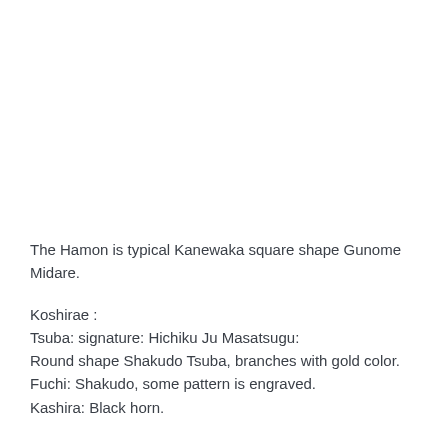The Hamon is typical Kanewaka square shape Gunome Midare.
Koshirae :
Tsuba: signature: Hichiku Ju Masatsugu:
Round shape Shakudo Tsuba, branches with gold color.
Fuchi: Shakudo, some pattern is engraved.
Kashira: Black horn.